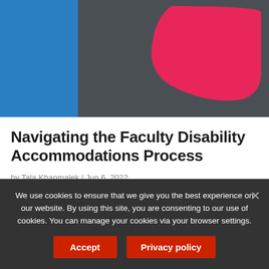[Figure (photo): Abstract photo showing a blue panel on the left and a large hot pink/red arrow or chevron shape on a dark grey background on the right.]
Navigating the Faculty Disability Accommodations Process
by Tala Khanmalek | Jun 6, 2022
Making the case for faculty disability accommodations that go beyond individualism and toward structural change
We use cookies to ensure that we give you the best experience on our website. By using this site, you are consenting to our use of cookies. You can manage your cookies via your browser settings.